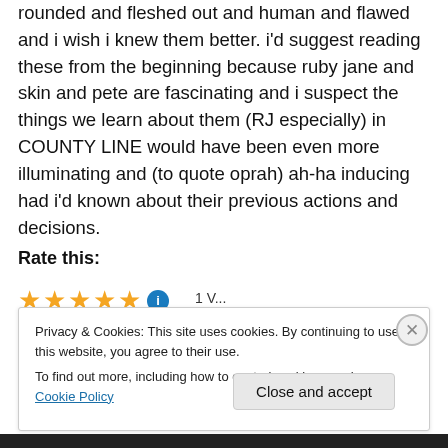rounded and fleshed out and human and flawed and i wish i knew them better. i'd suggest reading these from the beginning because ruby jane and skin and pete are fascinating and i suspect the things we learn about them (RJ especially) in COUNTY LINE would have been even more illuminating and (to quote oprah) ah-ha inducing had i'd known about their previous actions and decisions.
Rate this:
[Figure (other): Five gold star rating icons followed by a blue info icon and partial vote count text]
Privacy & Cookies: This site uses cookies. By continuing to use this website, you agree to their use.
To find out more, including how to control cookies, see here: Cookie Policy